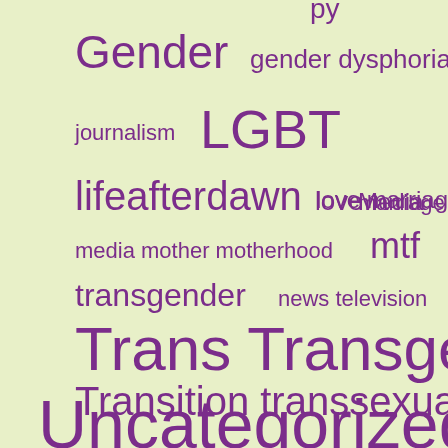[Figure (infographic): Word cloud on a light yellow-green background featuring LGBT/transgender-related terms in purple, varying in font size to indicate frequency. Terms include: Gender, gender dysphoria, journalism, LGBT, lifeafterdawn, love, marriage, Media, media, mother, motherhood, mtf, transgender, news, television, Trans, Transgender, Transition, transsexual, Uncategorized]